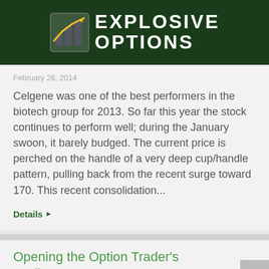Explosive Options
February 26, 2014
Celgene was one of the best performers in the biotech group for 2013. So far this year the stock continues to perform well; during the January swoon, it barely budged. The current price is perched on the handle of a very deep cup/handle pattern, pulling back from the recent surge toward 170. This recent consolidation...
Details ▶
Opening the Option Trader's Toolbox — Part 1...